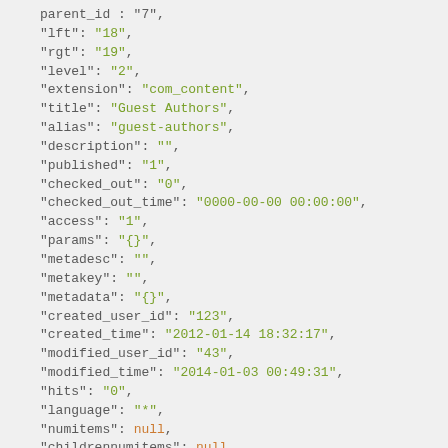JSON code snippet showing object properties including lft, rgt, level, extension, title, alias, description, published, checked_out, checked_out_time, access, params, metadesc, metakey, metadata, created_user_id, created_time, modified_user_id, modified_time, hits, language, numitems, childrennumitems, slug